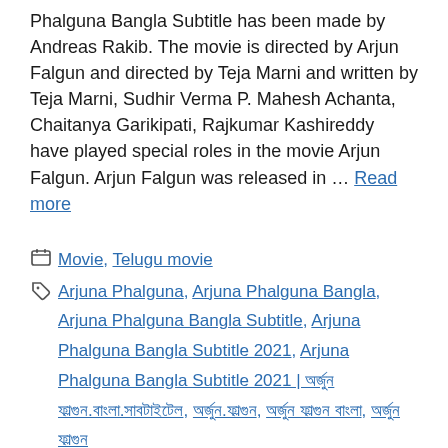Phalguna Bangla Subtitle has been made by Andreas Rakib. The movie is directed by Arjun Falgun and directed by Teja Marni and written by Teja Marni, Sudhir Verma P. Mahesh Achanta, Chaitanya Garikipati, Rajkumar Kashireddy have played special roles in the movie Arjun Falgun. Arjun Falgun was released in … Read more
Categories: Movie, Telugu movie
Tags: Arjuna Phalguna, Arjuna Phalguna Bangla, Arjuna Phalguna Bangla Subtitle, Arjuna Phalguna Bangla Subtitle 2021, Arjuna Phalguna Bangla Subtitle 2021 | অর্জুন ফাল্গুন.বাংলা.সাবটাইটেল, অর্জুন.ফাল্গুন, অর্জুন ফাল্গুন বাংলা, অর্জুন ফাল্গুন